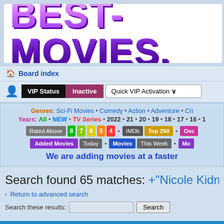[Figure (logo): BEST-MOVIES website logo with large purple gradient text on white background]
Board index
VIP Status | Inactive | Quick VIP Activation
Genres: Sci-Fi Movies • Comedy • Action • Adventure • Cri...
Years: All • NEW • TV Series • 2022 • 21 • 20 • 19 • 18 • 17 • 16 • 1...
Rated Above 8 7 6 5 4 • IMDb Top 250 • Osc...
Added Movies Today • Movies This Week • Mo...
We are adding movies at a faster
Search found 65 matches: +"Nicole Kidman"
Return to advanced search
Search these results:
TOPICS
The No...